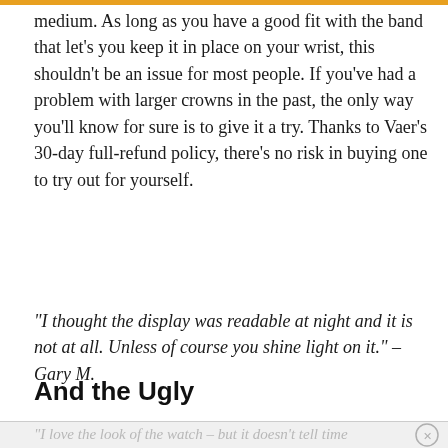medium. As long as you have a good fit with the band that let’s you keep it in place on your wrist, this shouldn’t be an issue for most people. If you’ve had a problem with larger crowns in the past, the only way you’ll know for sure is to give it a try. Thanks to Vaer’s 30-day full-refund policy, there’s no risk in buying one to try out for yourself.
“I thought the display was readable at night and it is not at all. Unless of course you shine light on it.” – Gary M.
And the Ugly
“I love the look of the watch – but it doesn’t tell time